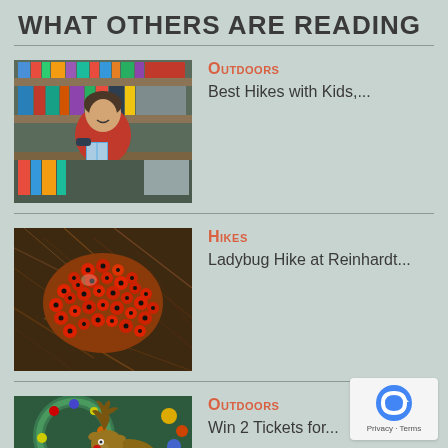What others are reading
[Figure (photo): Woman smiling in front of bookshelves, holding a book]
Outdoors
Best Hikes with Kids,...
[Figure (photo): Close-up of a mass of ladybugs clustered on pine needles]
Hikes
Ladybug Hike at Reinhardt...
[Figure (photo): Decorative reindeer toy with a holiday wreath in the background]
Outdoors
Win 2 Tickets for...